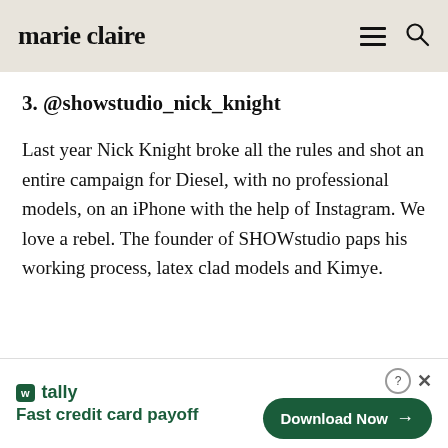marie claire
3. @showstudio_nick_knight
Last year Nick Knight broke all the rules and shot an entire campaign for Diesel, with no professional models, on an iPhone with the help of Instagram. We love a rebel. The founder of SHOWstudio paps his working process, latex clad models and Kimye.
[Figure (screenshot): Tally app advertisement banner: logo with 'w tally' branding in dark green, tagline 'Fast credit card payoff', and a dark green 'Download Now' button with arrow. Close/help icons in top right corner.]